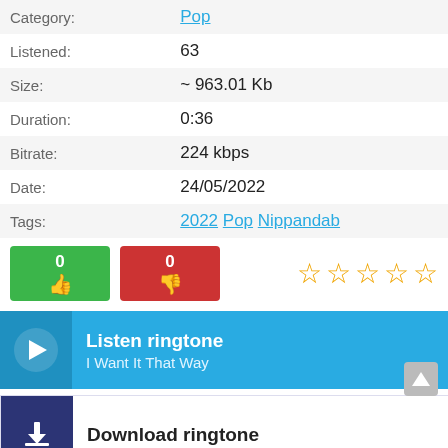| Label | Value |
| --- | --- |
| Category: | Pop |
| Listened: | 63 |
| Size: | ~ 963.01 Kb |
| Duration: | 0:36 |
| Bitrate: | 224 kbps |
| Date: | 24/05/2022 |
| Tags: | 2022 Pop Nippandab |
[Figure (other): Thumbs up (0) green button, thumbs down (0) red button, and 5-star rating (0 stars filled)]
Listen ringtone - I Want It That Way
Download ringtone
Watch music video